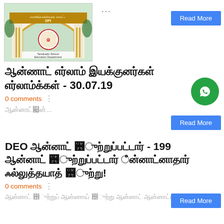[Figure (photo): DPI Tamil Nadu School Education Department building entrance with arch]
...
Read More
Tamil script title - 30.07.19
0 comments
Tamil script excerpt...
Read More
DEO Tamil script title - 199 Tamil script content!
0 comments
Tamil script excerpt...
Read More